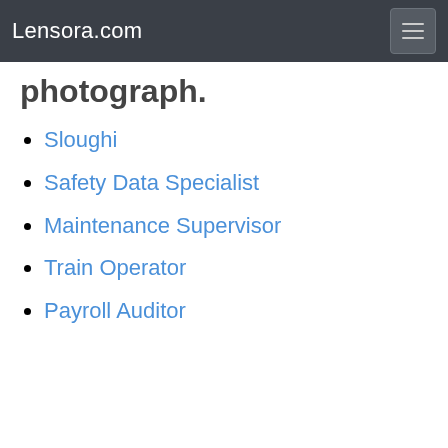Lensora.com
photograph.
Sloughi
Safety Data Specialist
Maintenance Supervisor
Train Operator
Payroll Auditor